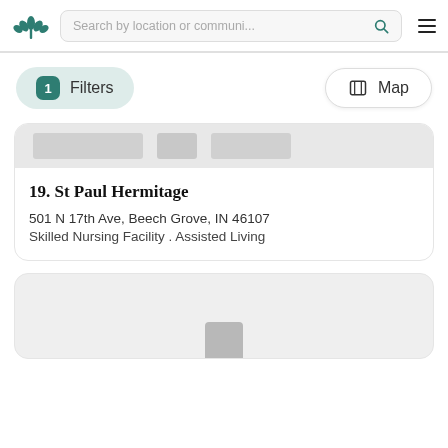Search by location or communi...
1 Filters
Map
19. St Paul Hermitage
501 N 17th Ave, Beech Grove, IN 46107
Skilled Nursing Facility . Assisted Living
[Figure (screenshot): Partial card image placeholder (gray blocks) for next listing]